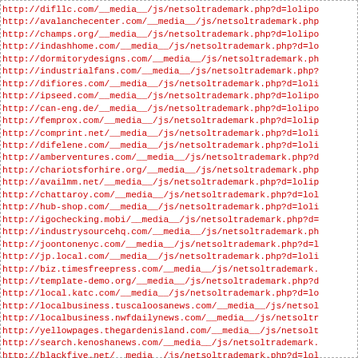http://difllc.com/__media__/js/netsoltrademark.php?d=lolipo
http://avalanchecenter.com/__media__/js/netsoltrademark.php
http://champs.org/__media__/js/netsoltrademark.php?d=lolipo
http://indashhome.com/__media__/js/netsoltrademark.php?d=lo
http://dormitorydesigns.com/__media__/js/netsoltrademark.ph
http://industrialfans.com/__media__/js/netsoltrademark.php?
http://difiores.com/__media__/js/netsoltrademark.php?d=loli
http://ipseed.com/__media__/js/netsoltrademark.php?d=lolipo
http://can-eng.de/__media__/js/netsoltrademark.php?d=lolipo
http://femprox.com/__media__/js/netsoltrademark.php?d=lolip
http://comprint.net/__media__/js/netsoltrademark.php?d=loli
http://difelene.com/__media__/js/netsoltrademark.php?d=loli
http://amberventures.com/__media__/js/netsoltrademark.php?d
http://chariotsforhire.org/__media__/js/netsoltrademark.php
http://availmm.net/__media__/js/netsoltrademark.php?d=lolip
http://chattaroy.com/__media__/js/netsoltrademark.php?d=lol
http://hub-shop.com/__media__/js/netsoltrademark.php?d=loli
http://igochecking.mobi/__media__/js/netsoltrademark.php?d=
http://industrysourcehq.com/__media__/js/netsoltrademark.ph
http://joontonenyc.com/__media__/js/netsoltrademark.php?d=l
http://jp.local.com/__media__/js/netsoltrademark.php?d=loli
http://biz.timesfreepress.com/__media__/js/netsoltrademark.
http://template-demo.org/__media__/js/netsoltrademark.php?d
http://local.katc.com/__media__/js/netsoltrademark.php?d=lo
http://localbusiness.tuscaloosanews.com/__media__/js/netsol
http://localbusiness.nwfdailynews.com/__media__/js/netsoltr
http://yellowpages.thegardenisland.com/__media__/js/netsolt
http://search.kenoshanews.com/__media__/js/netsoltrademark.
http://blackfive.net/__media__/js/netsoltrademark.php?d=lol
http://localbusiness.marioncountyonline.biz/...